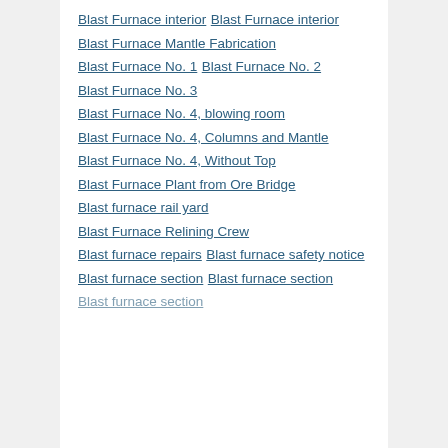Blast Furnace interior
Blast Furnace interior
Blast Furnace Mantle Fabrication
Blast Furnace No. 1
Blast Furnace No. 2
Blast Furnace No. 3
Blast Furnace No. 4, blowing room
Blast Furnace No. 4, Columns and Mantle
Blast Furnace No. 4, Without Top
Blast Furnace Plant from Ore Bridge
Blast furnace rail yard
Blast Furnace Relining Crew
Blast furnace repairs
Blast furnace safety notice
Blast furnace section
Blast furnace section
Blast furnace section